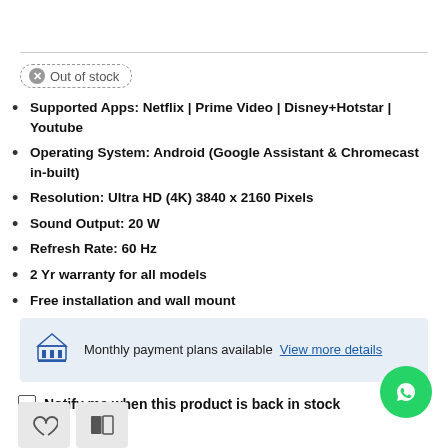Out of stock
Supported Apps: Netflix | Prime Video | Disney+Hotstar | Youtube
Operating System: Android (Google Assistant & Chromecast in-built)
Resolution: Ultra HD (4K) 3840 x 2160 Pixels
Sound Output: 20 W
Refresh Rate: 60 Hz
2 Yr warranty for all models
Free installation and wall mount
Monthly payment plans available View more details
Notify me when this product is back in stock